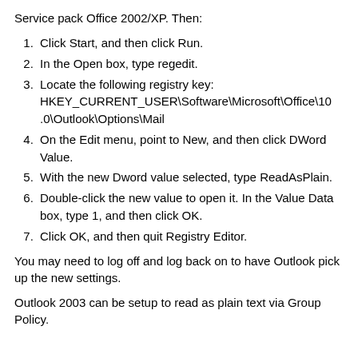Service pack Office 2002/XP. Then:
1. Click Start, and then click Run.
2. In the Open box, type regedit.
3. Locate the following registry key: HKEY_CURRENT_USER\Software\Microsoft\Office\10.0\Outlook\Options\Mail
4. On the Edit menu, point to New, and then click DWord Value.
5. With the new Dword value selected, type ReadAsPlain.
6. Double-click the new value to open it. In the Value Data box, type 1, and then click OK.
7. Click OK, and then quit Registry Editor.
You may need to log off and log back on to have Outlook pick up the new settings.
Outlook 2003 can be setup to read as plain text via Group Policy.